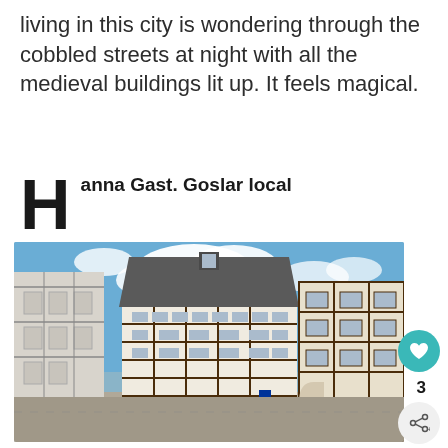living in this city is wondering through the cobbled streets at night with all the medieval buildings lit up. It feels magical.
Hanna Gast. Goslar local
[Figure (photo): Street view of Goslar old town showing medieval half-timbered buildings under a blue sky with white clouds. A prominent multi-storey timber-frame building stands in the center, flanked by other historic structures. A person in a blue backpack is visible on the right.]